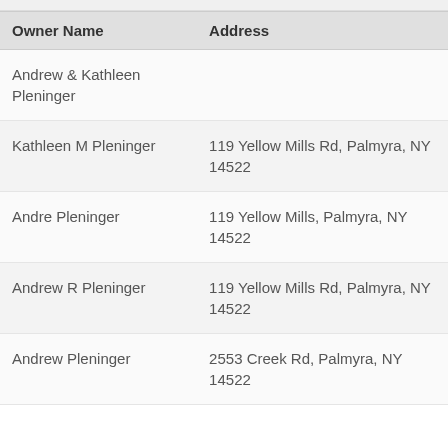| Owner Name | Address |
| --- | --- |
| Andrew & Kathleen Pleninger |  |
| Kathleen M Pleninger | 119 Yellow Mills Rd, Palmyra, NY 14522 |
| Andre Pleninger | 119 Yellow Mills, Palmyra, NY 14522 |
| Andrew R Pleninger | 119 Yellow Mills Rd, Palmyra, NY 14522 |
| Andrew Pleninger | 2553 Creek Rd, Palmyra, NY 14522 |